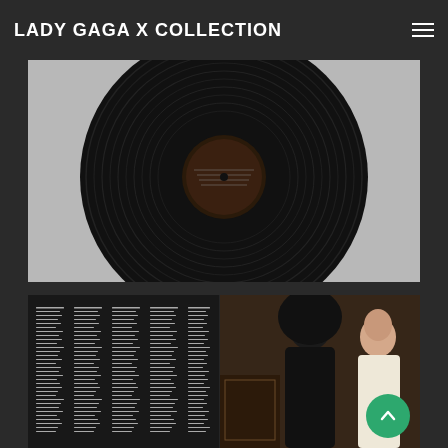LADY GAGA X COLLECTION
[Figure (photo): Close-up of a black vinyl record showing grooves and center label, photographed on a light gray background]
[Figure (photo): Album inner sleeve showing lyrics/credits columns on the left panel, and Lady Gaga in a black jacket with Tony Bennett on the right panel, seated in an ornate setting. A green scroll-to-top button overlays the bottom right.]